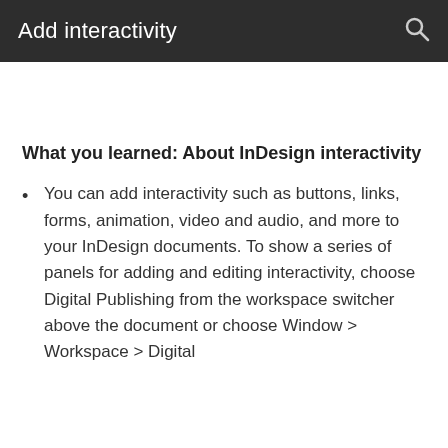Add interactivity
What you learned: About InDesign interactivity
You can add interactivity such as buttons, links, forms, animation, video and audio, and more to your InDesign documents. To show a series of panels for adding and editing interactivity, choose Digital Publishing from the workspace switcher above the document or choose Window > Workspace > Digital